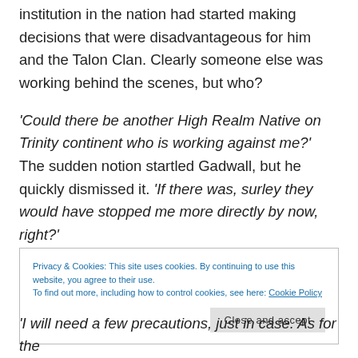institution in the nation had started making decisions that were disadvantageous for him and the Talon Clan. Clearly someone else was working behind the scenes, but who?
'Could there be another High Realm Native on Trinity continent who is working against me?' The sudden notion startled Gadwall, but he quickly dismissed it. 'If there was, surley they would have stopped me more directly by now, right?'
Privacy & Cookies: This site uses cookies. By continuing to use this website, you agree to their use.
To find out more, including how to control cookies, see here: Cookie Policy
'I will need a few precautions, just in case. As for the